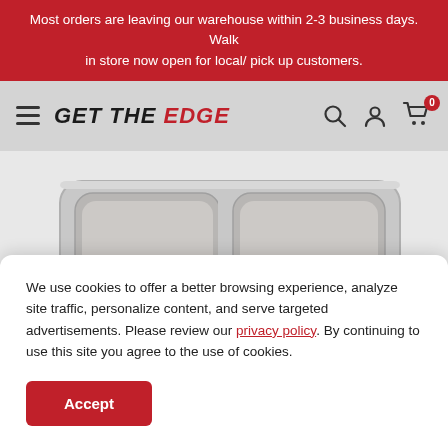Most orders are leaving our warehouse within 2-3 business days. Walk in store now open for local/ pick up customers.
[Figure (screenshot): Website navigation bar with hamburger menu, GET THE EDGE logo, search icon, account icon, and cart icon with badge showing 0]
[Figure (photo): Stainless steel double-basin undermount kitchen sink viewed from above, showing two rounded rectangular basins]
We use cookies to offer a better browsing experience, analyze site traffic, personalize content, and serve targeted advertisements. Please review our privacy policy. By continuing to use this site you agree to the use of cookies.
Accept